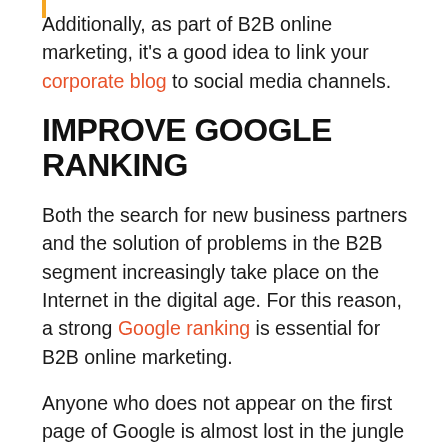Additionally, as part of B2B online marketing, it's a good idea to link your corporate blog to social media channels.
IMPROVE GOOGLE RANKING
Both the search for new business partners and the solution of problems in the B2B segment increasingly take place on the Internet in the digital age. For this reason, a strong Google ranking is essential for B2B online marketing.
Anyone who does not appear on the first page of Google is almost lost in the jungle of the Internet. The more visitors land on...